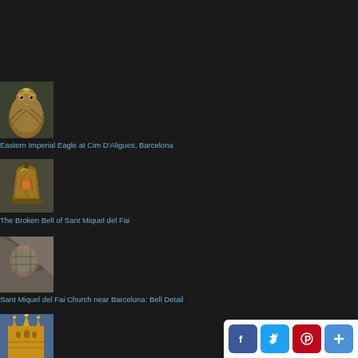[Figure (photo): Thumbnail photo of Eastern Imperial Eagle close-up, front view with brown feathers]
Eastern Imperial Eagle at Cim D'Aligues, Barcelona
[Figure (photo): Thumbnail photo of The Broken Bell of Sant Miquel del Fai, an old rusted bell]
The Broken Bell of Sant Miquel del Fai
[Figure (photo): Thumbnail photo showing bell detail from Sant Miquel del Fai Church near Barcelona]
Sant Miquel del Fai Church near Barcelona: Bell Detail
[Figure (photo): Thumbnail photo of Sagrada Familia or similar Barcelona cathedral with yellow/golden spires]
[Figure (infographic): Social media sharing bar with Facebook, Twitter, Pinterest, and add/plus buttons]